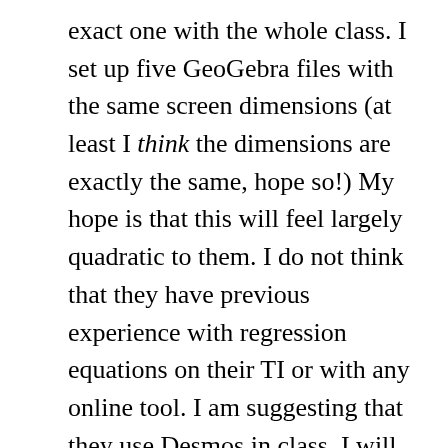exact one with the whole class. I set up five GeoGebra files with the same screen dimensions (at least I think the dimensions are exactly the same, hope so!) My hope is that this will feel largely quadratic to them. I do not think that they have previous experience with regression equations on their TI or with any online tool. I am suggesting that they use Desmos in class. I will present GeoGebra with the goals of exposing them right away to two of my favorite tools. We'll discuss which one might feel better for different situations. In the past few years I have had a number of students adopt both programs as a natural part of their problem solving. On more than one occasion a student has written a note on a problem set